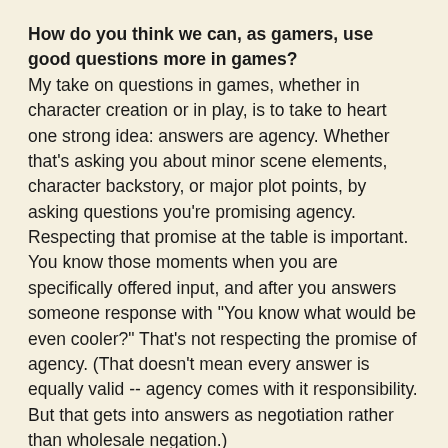How do you think we can, as gamers, use good questions more in games?
My take on questions in games, whether in character creation or in play, is to take to heart one strong idea: answers are agency. Whether that's asking you about minor scene elements, character backstory, or major plot points, by asking questions you're promising agency. Respecting that promise at the table is important. You know those moments when you are specifically offered input, and after you answers someone response with "You know what would be even cooler?" That's not respecting the promise of agency. (That doesn't mean every answer is equally valid -- agency comes with it responsibility. But that gets into answers as negotiation rather than wholesale negation.)
The *World games show how to use questions in play in a brilliant manner -- I have always appreciated how Vincent crafted questions as currency.
There's a tendency to eschew the yes/no question because it